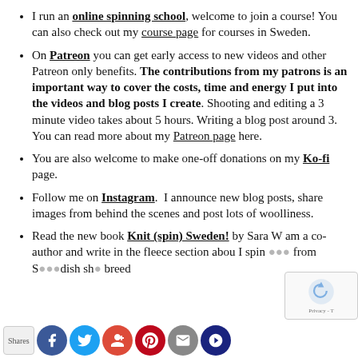I run an online spinning school, welcome to join a course! You can also check out my course page for courses in Sweden.
On Patreon you can get early access to new videos and other Patreon only benefits. The contributions from my patrons is an important way to cover the costs, time and energy I put into the videos and blog posts I create. Shooting and editing a 3 minute video takes about 5 hours. Writing a blog post around 3. You can read more about my Patreon page here.
You are also welcome to make one-off donations on my Ko-fi page.
Follow me on Instagram. I announce new blog posts, share images from behind the scenes and post lots of woolliness.
Read the new book Knit (spin) Sweden! by Sara W. am a co-author and write in the fleece section about I spin from S...dish sh... breed...